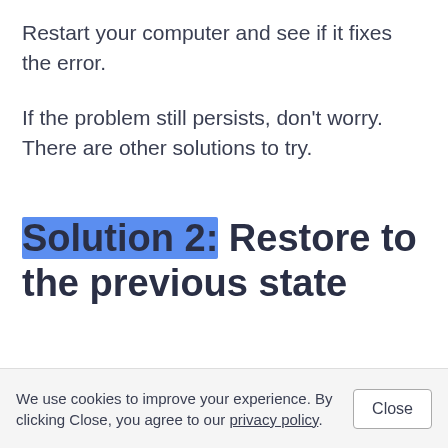Restart your computer and see if it fixes the error.
If the problem still persists, don't worry. There are other solutions to try.
Solution 2: Restore to the previous state
We use cookies to improve your experience. By clicking Close, you agree to our privacy policy.